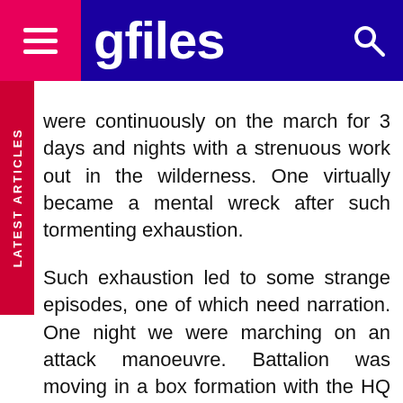gfiles
were continuously on the march for 3 days and nights with a strenuous work out in the wilderness. One virtually became a mental wreck after such tormenting exhaustion.

Such exhaustion led to some strange episodes, one of which need narration. One night we were marching on an attack manoeuvre. Battalion was moving in a box formation with the HQ and Support Company in the middle. Since the Rann was totally barren devoid of any vegetation or landmark we kept direction by Compass orientation. I was at the tail and every one of us was weary and tired. Suddenly I found Captain VC Kurian, Adjutant swaying